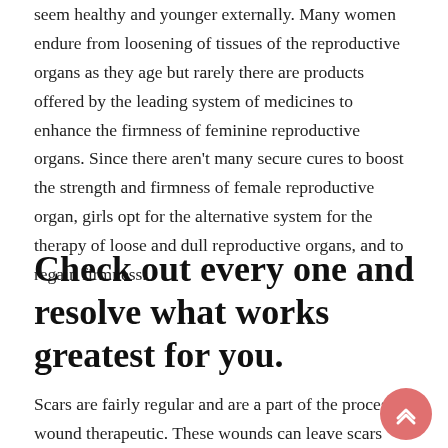seem healthy and younger externally. Many women endure from loosening of tissues of the reproductive organs as they age but rarely there are products offered by the leading system of medicines to enhance the firmness of feminine reproductive organs. Since there aren't many secure cures to boost the strength and firmness of female reproductive organ, girls opt for the alternative system for the therapy of loose and dull reproductive organs, and to regain firmness.
Check out every one and resolve what works greatest for you.
Scars are fairly regular and are a part of the process of wound therapeutic. These wounds can leave scars behind